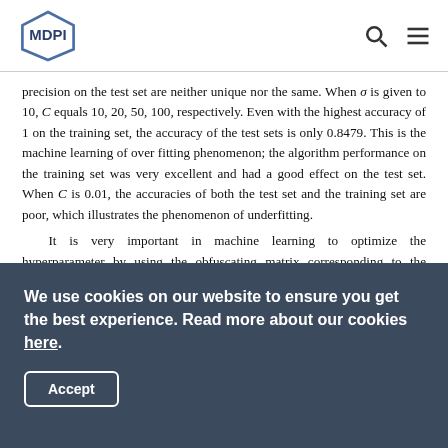MDPI
precision on the test set are neither unique nor the same. When σ is given to 10, C equals 10, 20, 50, 100, respectively. Even with the highest accuracy of 1 on the training set, the accuracy of the test sets is only 0.8479. This is the machine learning of over fitting phenomenon; the algorithm performance on the training set was very excellent and had a good effect on the test set. When C is 0.01, the accuracies of both the test set and the training set are poor, which illustrates the phenomenon of underfitting.
It is very important in machine learning to optimize the hyperparameter by using the obfuscating matrix corresponding to the optimal hyperparameter. Its main significance lies first in
We use cookies on our website to ensure you get the best experience. Read more about our cookies here.
Accept